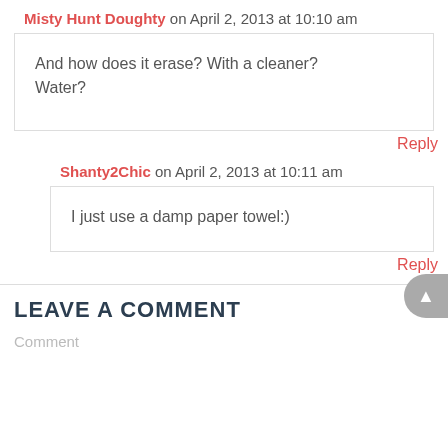Misty Hunt Doughty on April 2, 2013 at 10:10 am
And how does it erase? With a cleaner? Water?
Reply
Shanty2Chic on April 2, 2013 at 10:11 am
I just use a damp paper towel:)
Reply
LEAVE A COMMENT
Comment